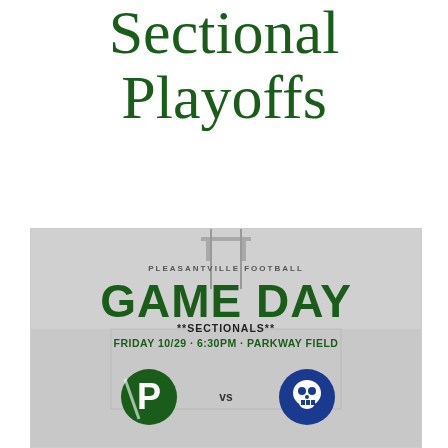Sectional
Playoffs
[Figure (infographic): Pleasantville Football Game Day promotional graphic showing 'GAME DAY **SECTIONALS** FRIDAY 10/29 · 6:30PM · PARKWAY FIELD' with two team logos (Pleasantville P logo vs blue Buccaneers skull logo) on a football field background.]